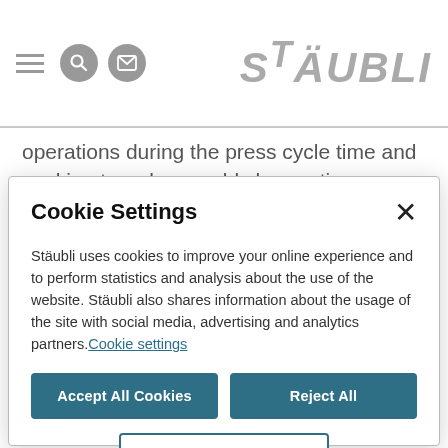Stäubli [logo with hamburger menu, search, and mail icons]
operations during the press cycle time and seeking to reduce mold change times.
Compatible with clean environments and offering simple,
Cookie Settings
Stäubli uses cookies to improve your online experience and to perform statistics and analysis about the use of the website. Stäubli also shares information about the usage of the site with social media, advertising and analytics partners.Cookie settings
Accept All Cookies
Reject All
Cookie Settings